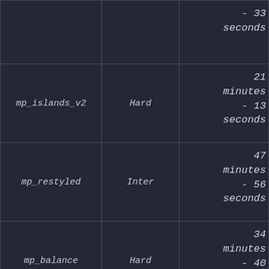| Map | Difficulty | Time |
| --- | --- | --- |
|  |  | - 33
seconds |
| mp_islands_v2 | Hard | 21 minutes
- 13 seconds |
| mp_restyled | Inter | 47 minutes
- 56 seconds |
| mp_balance | Hard | 34 minutes
- 40 seconds |
| mp_balance | Inter | 8 |